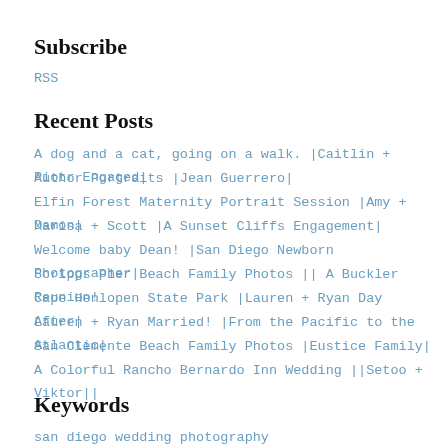Subscribe
RSS
Recent Posts
A dog and a cat, going on a walk. |Caitlin + Piotr Engaged|
Author Portraits |Jean Guerrero|
Elfin Forest Maternity Portrait Session |Amy + Damon|
Marisa + Scott |A Sunset Cliffs Engagement|
Welcome baby Dean! |San Diego Newborn Photographer|
Scripps Pier Beach Family Photos || A Buckler Reunion!
Cape Henlopen State Park |Lauren + Ryan Day After|
Lauren + Ryan Married! |From the Pacific to the Atlantic|
San Clemente Beach Family Photos |Eustice Family|
A Colorful Rancho Bernardo Inn Wedding ||Setoo + Viktor||
Keywords
san diego wedding photography
san diego engagement photography
san diego family photography